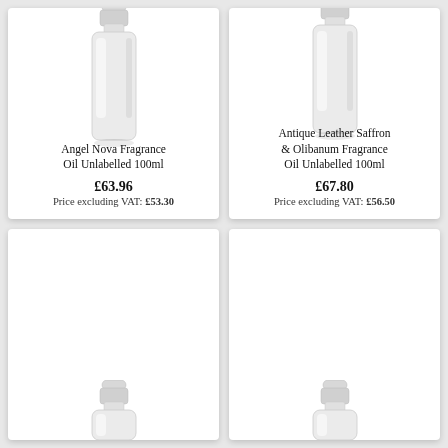[Figure (photo): White plastic 100ml bottle with screw cap - Angel Nova Fragrance Oil]
Angel Nova Fragrance Oil Unlabelled 100ml
£63.96
Price excluding VAT: £53.30
[Figure (photo): White plastic 100ml bottle with screw cap - Antique Leather Saffron & Olibanum Fragrance Oil]
Antique Leather Saffron & Olibanum Fragrance Oil Unlabelled 100ml
£67.80
Price excluding VAT: £56.50
[Figure (photo): Partial view of white plastic bottle - bottom card cut off]
[Figure (photo): Partial view of white plastic bottle - bottom card cut off]